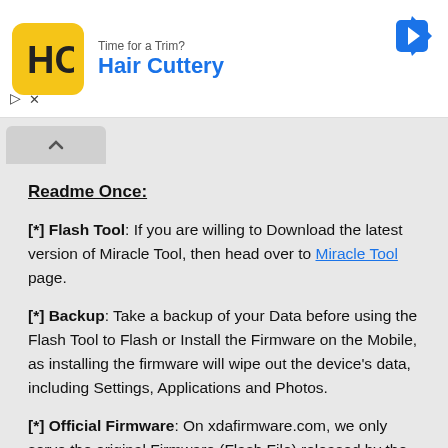[Figure (other): Advertisement banner for Hair Cuttery with yellow HC logo icon, blue arrow navigation icon, and close/skip controls]
Readme Once:
[*] Flash Tool: If you are willing to Download the latest version of Miracle Tool, then head over to Miracle Tool page.
[*] Backup: Take a backup of your Data before using the Flash Tool to Flash or Install the Firmware on the Mobile, as installing the firmware will wipe out the device's data, including Settings, Applications and Photos.
[*] Official Firmware: On xdafirmware.com, we only serve the original Firmware (Flash File) released by the